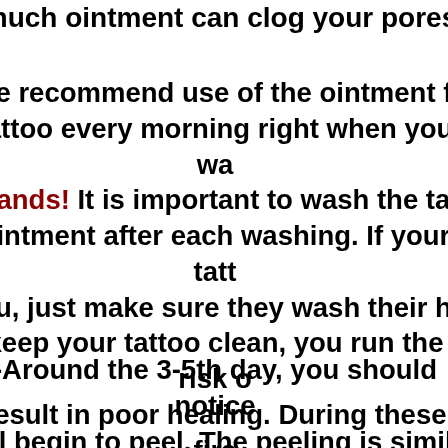much ointment can clog your pores
-We recommend use of the ointment fo tattoo every morning right when you wa hands! It is important to wash the ta ointment after each washing. If your tatt you, just make sure they wash their ha keep your tattoo clean, you run the risk o result in poor healing. During these firs located the tattoo may be prone to swe area, and taking ibuprof
-Around the 3-5th day, you should notice will begin to peel. The peeling is simila come off in the colors of the tattoo th